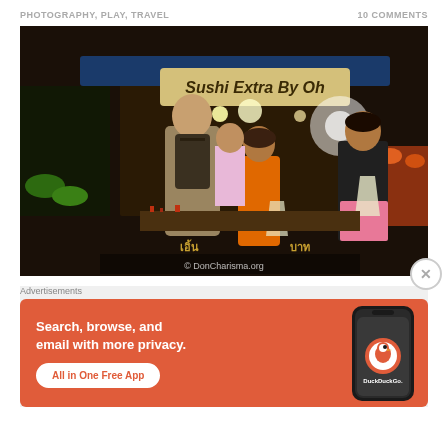PHOTOGRAPHY, PLAY, TRAVEL    10 COMMENTS
[Figure (photo): Night market scene showing people shopping at a sushi stall called 'Sushi Extra By Oh'. A man with a backpack and a woman in an orange dress are ordering from a female vendor. Another woman in a black top is on the right. The scene is brightly lit with market lights. Watermark: © DonCharisma.org]
Advertisements
[Figure (infographic): DuckDuckGo advertisement banner with orange background. Text: 'Search, browse, and email with more privacy. All in One Free App' with DuckDuckGo logo and phone mockup on the right.]